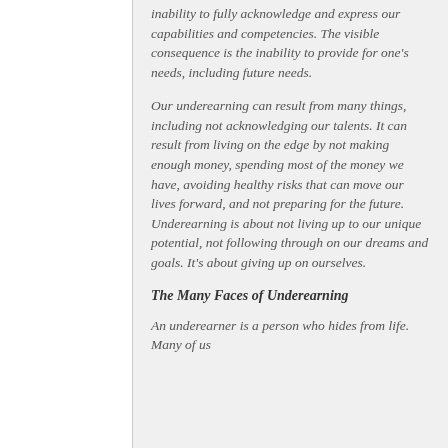inability to fully acknowledge and express our capabilities and competencies. The visible consequence is the inability to provide for one's needs, including future needs.
Our underearning can result from many things, including not acknowledging our talents. It can result from living on the edge by not making enough money, spending most of the money we have, avoiding healthy risks that can move our lives forward, and not preparing for the future. Underearning is about not living up to our unique potential, not following through on our dreams and goals. It's about giving up on ourselves.
The Many Faces of Underearning
An underearner is a person who hides from life. Many of us